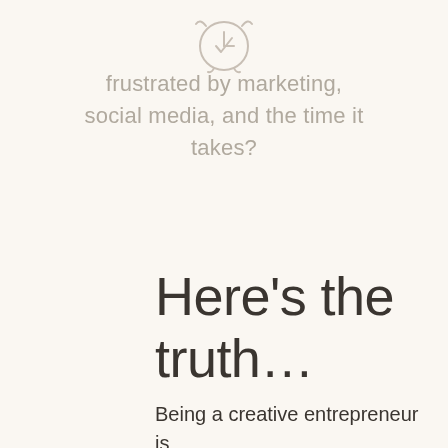[Figure (illustration): Light gray alarm clock icon at the top center of the page]
frustrated by marketing, social media, and the time it takes?
Here’s the truth…
Being a creative entrepreneur is like riding an epic rollercoaster